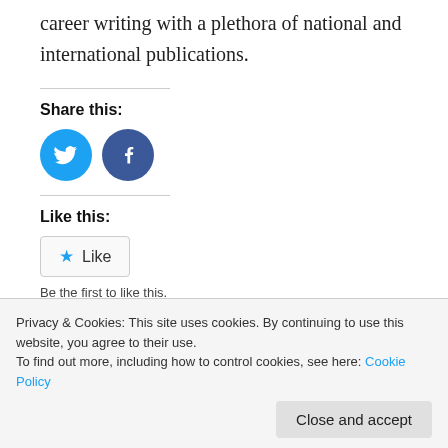career writing with a plethora of national and international publications.
Share this:
[Figure (infographic): Twitter bird icon (blue circle) and Facebook f icon (dark blue circle) social share buttons]
Like this:
[Figure (infographic): Like button with star icon]
Be the first to like this.
Privacy & Cookies: This site uses cookies. By continuing to use this website, you agree to their use.
To find out more, including how to control cookies, see here: Cookie Policy
Close and accept
Football and Fintech: